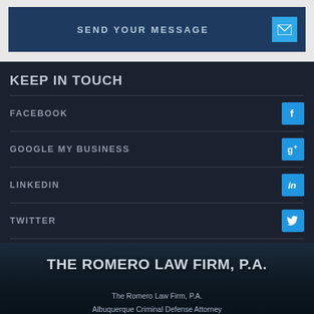SEND YOUR MESSAGE
KEEP IN TOUCH
FACEBOOK
GOOGLE MY BUSINESS
LINKEDIN
TWITTER
THE ROMERO LAW FIRM, P.A.
The Romero Law Firm, P.A.
Albuquerque Criminal Defense Attorney